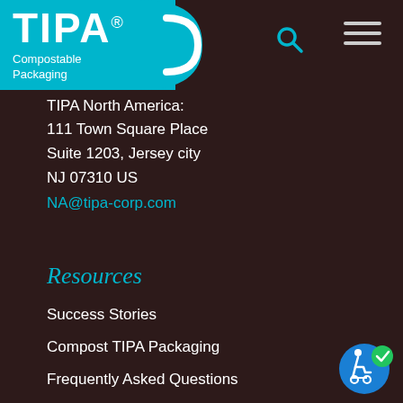[Figure (logo): TIPA Compostable Packaging logo — cyan/teal background with white TIPA lettering and a curved tail swoosh, with subtitle 'Compostable Packaging']
TIPA North America:
111 Town Square Place
Suite 1203, Jersey city
NJ 07310 US
NA@tipa-corp.com
Resources
Success Stories
Compost TIPA Packaging
Frequently Asked Questions
What is Sustainable Packaging?